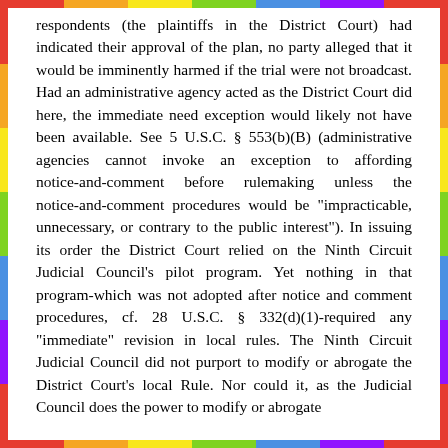respondents (the plaintiffs in the District Court) had indicated their approval of the plan, no party alleged that it would be imminently harmed if the trial were not broadcast. Had an administrative agency acted as the District Court did here, the immediate need exception would likely not have been available. See 5 U.S.C. § 553(b)(B) (administrative agencies cannot invoke an exception to affording notice-and-comment before rulemaking unless the notice-and-comment procedures would be "impracticable, unnecessary, or contrary to the public interest"). In issuing its order the District Court relied on the Ninth Circuit Judicial Council's pilot program. Yet nothing in that program-which was not adopted after notice and comment procedures, cf. 28 U.S.C. § 332(d)(1)-required any "immediate" revision in local rules. The Ninth Circuit Judicial Council did not purport to modify or abrogate the District Court's local Rule. Nor could it, as the Judicial Council does the power to modify or abrogate...